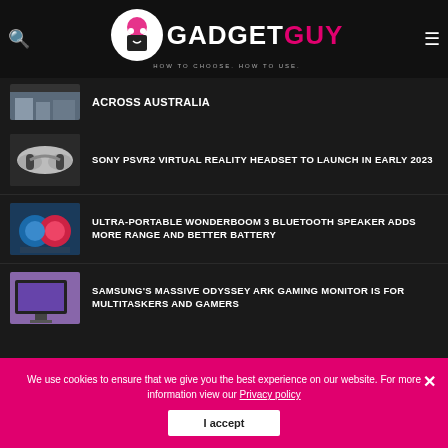[Figure (logo): GadgetGuy logo with circular emblem, GADGET in white bold text, GUY in pink bold text, tagline HOW TO CHOOSE. HOW TO USE.]
[Figure (photo): Thumbnail image - article about across Australia]
ACROSS AUSTRALIA
[Figure (photo): Sony PSVR2 virtual reality headset product image]
SONY PSVR2 VIRTUAL REALITY HEADSET TO LAUNCH IN EARLY 2023
[Figure (photo): Wonderboom 3 Bluetooth speaker - small round speakers in hands]
ULTRA-PORTABLE WONDERBOOM 3 BLUETOOTH SPEAKER ADDS MORE RANGE AND BETTER BATTERY
[Figure (photo): Samsung Odyssey Ark gaming monitor in room setting]
SAMSUNG'S MASSIVE ODYSSEY ARK GAMING MONITOR IS FOR MULTITASKERS AND GAMERS
We use cookies to ensure that we give you the best experience on our website. For more information view our Privacy policy
I accept